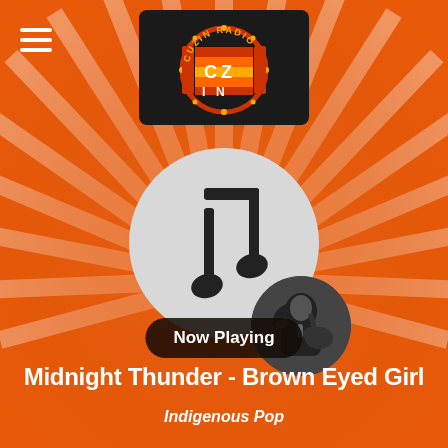[Figure (logo): Cuzin Radio logo on black background — circular emblem with crossed design in red, orange, yellow with text CUZIN RADIO]
[Figure (illustration): Music note icon on light gray circle, with a circular black-and-white photo of a woman playing guitar overlapping bottom-right]
Now Playing
Midnight Thunder - Brown Eyed Girl
Indigenous Pop